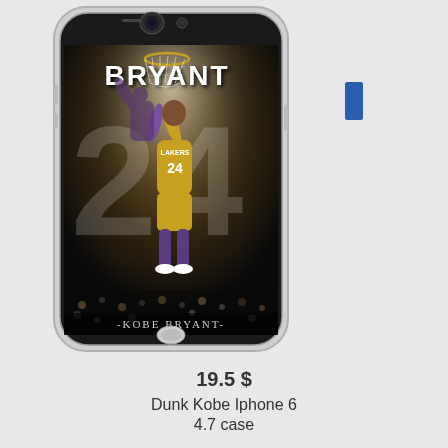[Figure (photo): A smartphone case featuring Kobe Bryant #24 dunking in his Lakers yellow jersey, with 'BRYANT' text at top and '-KOBE BRYANT-' at bottom. The case is displayed on a white iPhone with a silver border.]
19.5 $
Dunk Kobe Iphone 6
4.7 case